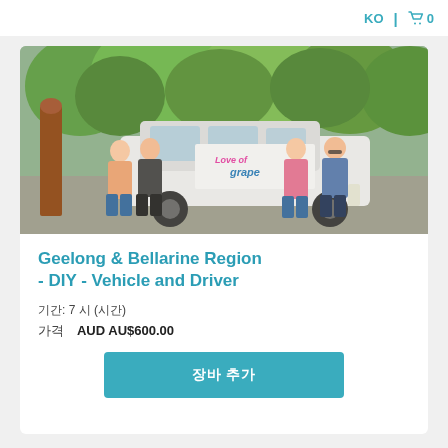KO | 🛒 0
[Figure (photo): Group of four people standing in front of a branded van that reads 'Love of grape', parked outdoors with trees and greenery in background.]
Geelong & Bellarine Region - DIY - Vehicle and Driver
기간: 7 시 (시간)
가격   AUD AU$600.00
장바 추가